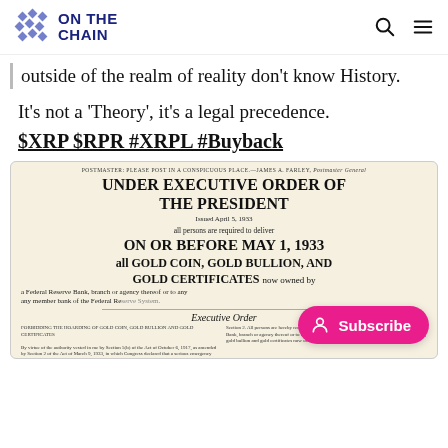ON THE CHAIN
outside of the realm of reality don't know History.
It's not a 'Theory', it's a legal precedence.
$XRP $RPR #XRPL #Buyback
[Figure (photo): Scan of a historical US government notice titled 'UNDER EXECUTIVE ORDER OF THE PRESIDENT', Issued April 5, 1933, ordering all persons to deliver gold coin, gold bullion, and gold certificates on or before May 1, 1933 to a Federal Reserve Bank. Signed 'Executive Order'. Includes fine print columns at the bottom.]